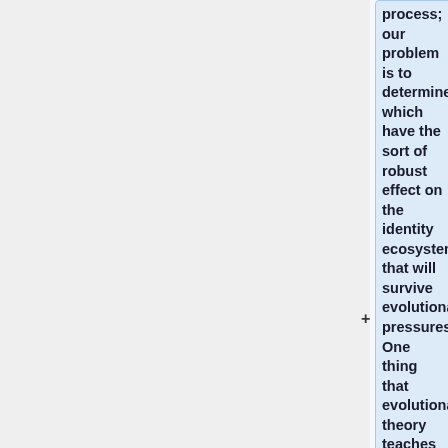process; our problem is to determine which have the sort of robust effect on the identity ecosystem that will survive evolutionary pressures. One thing that evolutionary theory teaches is that most changes will not survive and propagate.
===Privacy===
Similarly to the invention of